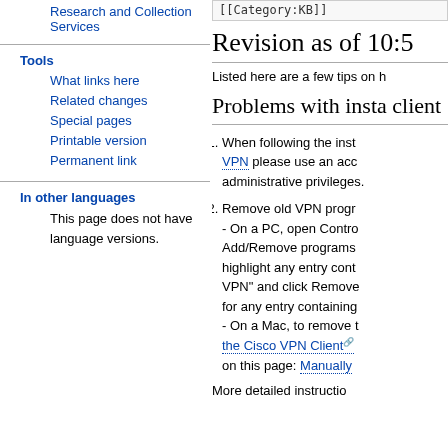Research and Collection Services
Tools
What links here
Related changes
Special pages
Printable version
Permanent link
In other languages
This page does not have language versions.
[[Category:KB]]
Revision as of 10:5
Listed here are a few tips on h
Problems with insta client
When following the instructions to install VPN please use an account with administrative privileges.
Remove old VPN programs. - On a PC, open Control Panel Add/Remove programs, highlight any entry containing "VPN" and click Remove. Do the same for any entry containing... - On a Mac, to remove the Cisco VPN Client on this page: Manually...
More detailed instructions